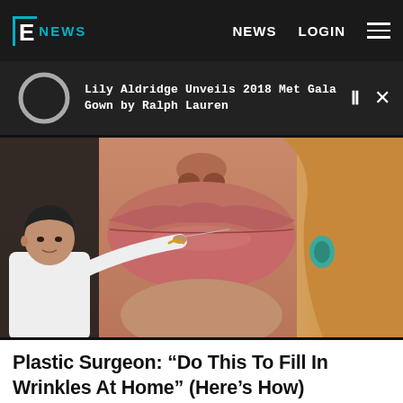E! NEWS  NEWS  LOGIN
Lily Aldridge Unveils 2018 Met Gala Gown by Ralph Lauren
[Figure (photo): Close-up of a woman's face focusing on lips, with a man in a white shirt holding a needle or tool near her lip — cosmetic procedure illustration]
Plastic Surgeon: “Do This To Fill In Wrinkles At Home” (Here’s How)
Beverly Hills MD | Sponsored